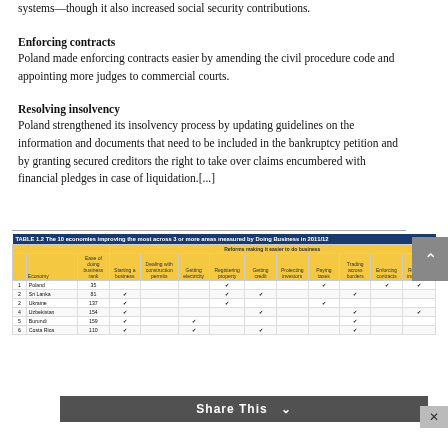systems—though it also increased social security contributions.
Enforcing contracts
Poland made enforcing contracts easier by amending the civil procedure code and appointing more judges to commercial courts.
Resolving insolvency
Poland strengthened its insolvency process by updating guidelines on the information and documents that need to be included in the bankruptcy petition and by granting secured creditors the right to take over claims encumbered with financial pledges in case of liquidation.[...]
|  | Economy | Ease of doing business rank | Starting a business | Dealing with construction permits | Getting electricity | Registering property | Getting credit | Protecting investors | Paying taxes | Trading across borders | Enforcing contracts | Resolving insolvency |
| --- | --- | --- | --- | --- | --- | --- | --- | --- | --- | --- | --- | --- |
| 1 | Poland | 35 |  |  |  | ✔ |  |  | ✔ |  | ✔ | ✔ |
| 2 | Sri Lanka | 81 | ✔ |  |  | ✔ | ✔ |  |  | ✔ |  |  |
| 2 | Ukraine | 137 | ✔ |  |  | ✔ |  |  | ✔ |  |  |  |
| 4 | Uzbekistan | 154 | ✔ |  |  |  | ✔ |  |  | ✔ |  | ✔ |
| 5 | Burundi | 159 | ✔ |  | ✔ |  |  |  |  | ✔ |  |  |
| 6 | Costa Rica | 110 | ✔ |  | ✔ |  | ✔ |  |  | ✔ |  |  |